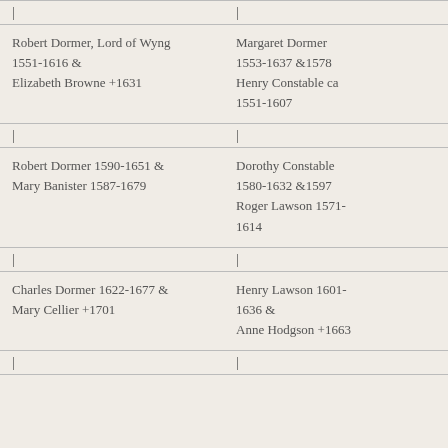Robert Dormer, Lord of Wyng 1551-1616 & Elizabeth Browne +1631
Margaret Dormer 1553-1637 &1578 Henry Constable ca 1551-1607
Robert Dormer 1590-1651 & Mary Banister 1587-1679
Dorothy Constable 1580-1632 &1597 Roger Lawson 1571-1614
Charles Dormer 1622-1677 & Mary Cellier +1701
Henry Lawson 1601-1636 & Anne Hodgson +1663